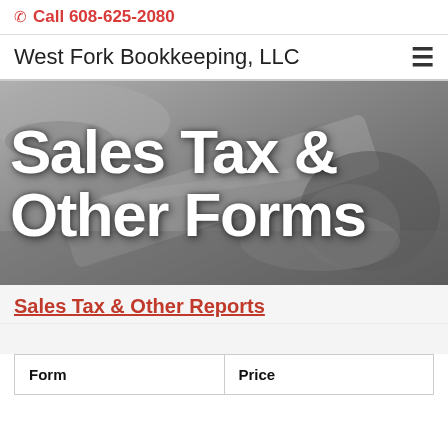Call 608-625-2080
West Fork Bookkeeping, LLC
[Figure (photo): Black and white photo of accounting/office items (glasses, papers, pen) used as hero background image]
Sales Tax & Other Forms
Sales Tax & Other Reports
| Form | Price |
| --- | --- |